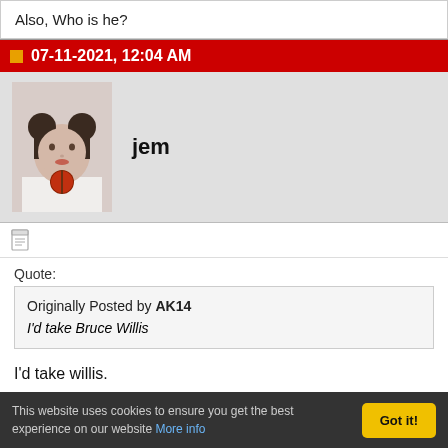Also, Who is he?
07-11-2021, 12:04 AM
[Figure (photo): Avatar photo of user 'jem' - person with hair buns]
jem
Quote:
Originally Posted by AK14
I'd take Bruce Willis
I'd take willis.

fred at half-time:
This website uses cookies to ensure you get the best experience on our website More info